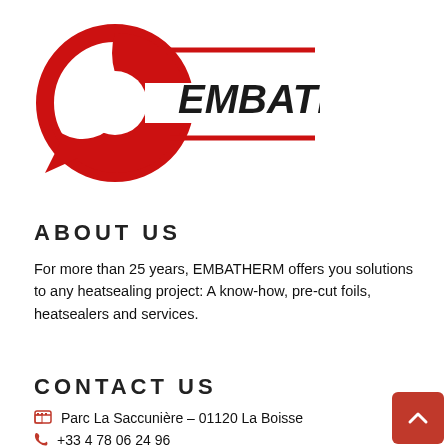[Figure (logo): EMBATHERM company logo: red circular arrow/wrench icon on the left, bold dark text 'EMBATHERM' on the right with two red horizontal lines above and below the text]
ABOUT US
For more than 25 years, EMBATHERM offers you solutions to any heatsealing project: A know-how, pre-cut foils, heatsealers and services.
CONTACT US
Parc La Saccunière – 01120 La Boisse
+33 4 78 06 24 96